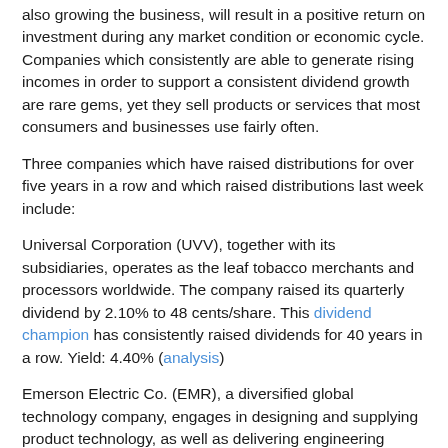also growing the business, will result in a positive return on investment during any market condition or economic cycle. Companies which consistently are able to generate rising incomes in order to support a consistent dividend growth are rare gems, yet they sell products or services that most consumers and businesses use fairly often.
Three companies which have raised distributions for over five years in a row and which raised distributions last week include:
Universal Corporation (UVV), together with its subsidiaries, operates as the leaf tobacco merchants and processors worldwide. The company raised its quarterly dividend by 2.10% to 48 cents/share. This dividend champion has consistently raised dividends for 40 years in a row. Yield: 4.40% (analysis)
Emerson Electric Co. (EMR), a diversified global technology company, engages in designing and supplying product technology, as well as delivering engineering services and solutions to various industrial, commercial, and consumer